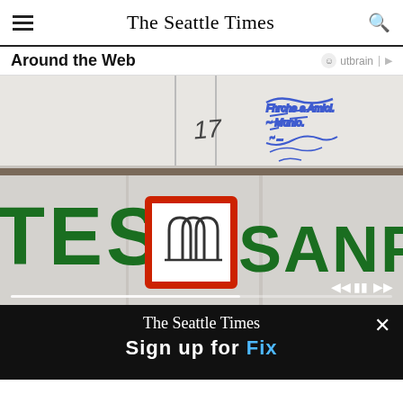The Seattle Times
Around the Web
[Figure (photo): Photograph of an Intesa Sanpaolo bank branch sign showing 'TESA' and 'SANPAOLO' in large green letters with the bank's red-bordered logo between them. There is handwritten text visible in blue pen in the upper portion of the image.]
The Seattle Times — Sign up for Fix